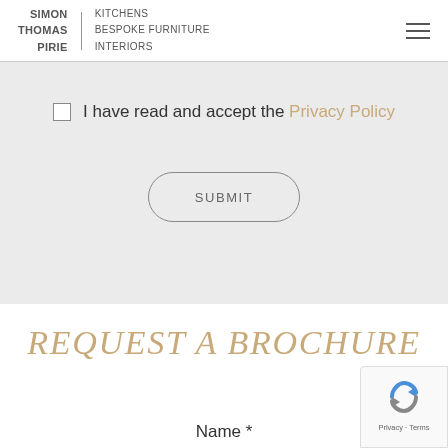SIMON THOMAS PIRIE | KITCHENS BESPOKE FURNITURE INTERIORS
I have read and accept the Privacy Policy
SUBMIT
REQUEST A BROCHURE
Name *